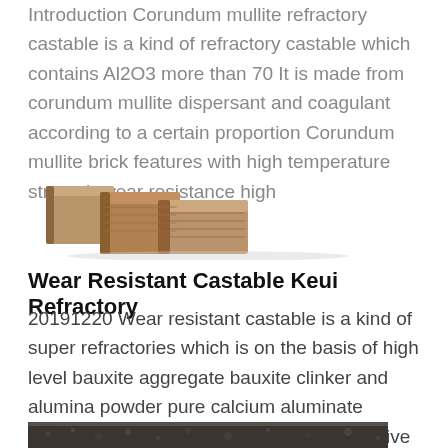Introduction Corundum mullite refractory castable is a kind of refractory castable which contains Al2O3 more than 70 It is made from corundum mullite dispersant and coagulant according to a certain proportion Corundum mullite brick features with high temperature strength wear resistance high
[Figure (photo): Three brown refractory brick blocks arranged together, showing a rough textured surface typical of corundum mullite castable material.]
Wear Resistant Castable Keui Refractory
20191220 Wear resistant castable is a kind of super refractories which is on the basis of high level bauxite aggregate bauxite clinker and alumina powder pure calcium aluminate cement as binder ultrafine powder as additive adding the prescribed
[Figure (photo): Close-up of dark granular refractory powder or aggregate material, partially visible at the bottom of the page.]